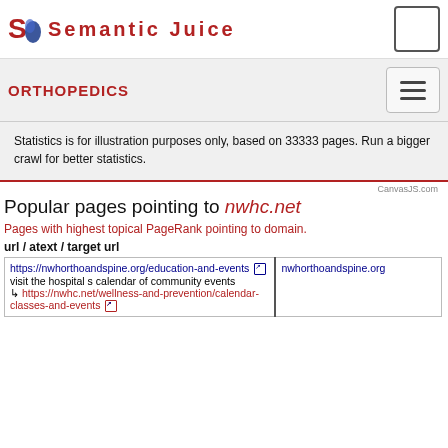Semantic Juice
ORTHOPEDICS
Statistics is for illustration purposes only, based on 33333 pages. Run a bigger crawl for better statistics.
CanvasJS.com
Popular pages pointing to nwhc.net
Pages with highest topical PageRank pointing to domain.
url / atext / target url
| url / atext / target url | target url |
| --- | --- |
| https://nwhorthoandspine.org/education-and-events ↗
visit the hospital s calendar of community events
↳ https://nwhc.net/wellness-and-prevention/calendar-classes-and-events ↗ | nwhorthoandspine.org |